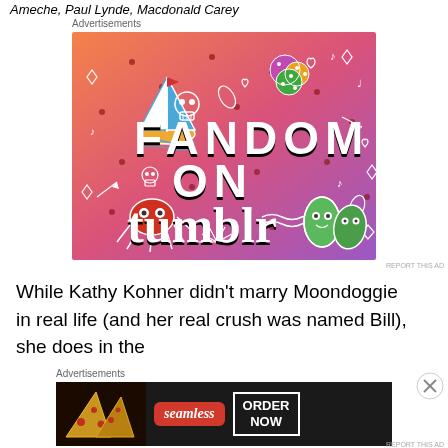Ameche, Paul Lynde, Macdonald Carey
Advertisements
[Figure (illustration): Tumblr advertisement with colorful gradient background (orange to purple) featuring the text 'FANDOM ON tumblr' with doodle illustrations of a sailboat, skull, dice, squid, and leaves]
REPORT THIS AD
While Kathy Kohner didn't marry Moondoggie in real life (and her real crush was named Bill), she does in the
Advertisements
[Figure (illustration): Seamless food delivery advertisement with pizza image on left, Seamless red logo in center, and ORDER NOW button on right, dark background]